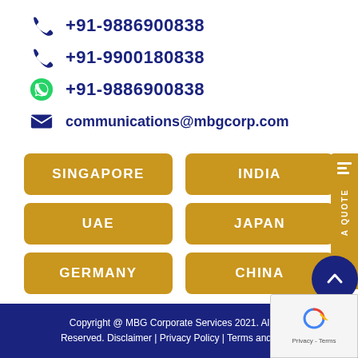+91-9886900838
+91-9900180838
+91-9886900838
communications@mbgcorp.com
SINGAPORE
INDIA
UAE
JAPAN
GERMANY
CHINA
Copyright @ MBG Corporate Services 2021. All Rights Reserved. Disclaimer | Privacy Policy | Terms and Conditions